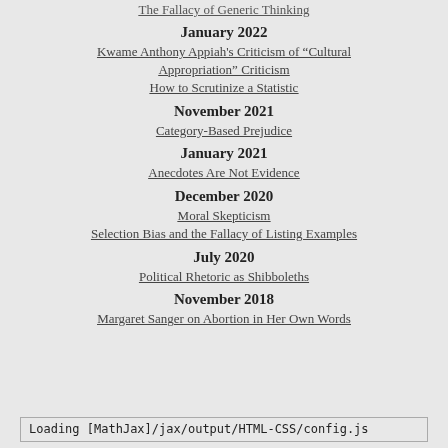The Fallacy of Generic Thinking
January 2022
Kwame Anthony Appiah's Criticism of “Cultural Appropriation” Criticism
How to Scrutinize a Statistic
November 2021
Category-Based Prejudice
January 2021
Anecdotes Are Not Evidence
December 2020
Moral Skepticism
Selection Bias and the Fallacy of Listing Examples
July 2020
Political Rhetoric as Shibboleths
November 2018
Margaret Sanger on Abortion in Her Own Words
Loading [MathJax]/jax/output/HTML-CSS/config.js